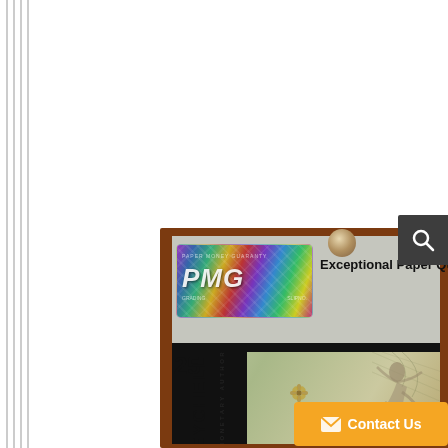[Figure (photo): PMG graded banknote in a wooden display frame. Shows a Seychelles Monetary Authority 25 Rupees banknote in a PMG protective holder with holographic sticker labeled 'Exceptional Paper Quality'. Brown wooden frame with corner pins visible. Search icon button in top right corner. Orange 'Contact Us' button at bottom right.]